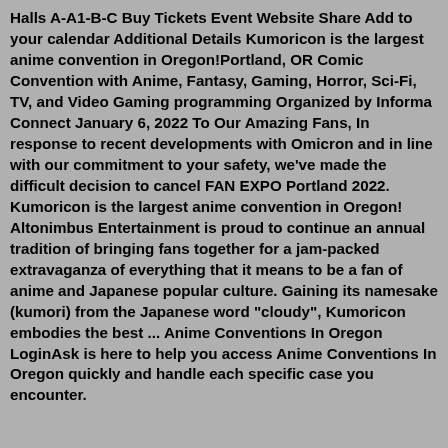Halls A-A1-B-C Buy Tickets Event Website Share Add to your calendar Additional Details Kumoricon is the largest anime convention in Oregon!Portland, OR Comic Convention with Anime, Fantasy, Gaming, Horror, Sci-Fi, TV, and Video Gaming programming Organized by Informa Connect January 6, 2022 To Our Amazing Fans, In response to recent developments with Omicron and in line with our commitment to your safety, we've made the difficult decision to cancel FAN EXPO Portland 2022. Kumoricon is the largest anime convention in Oregon! Altonimbus Entertainment is proud to continue an annual tradition of bringing fans together for a jam-packed extravaganza of everything that it means to be a fan of anime and Japanese popular culture. Gaining its namesake (kumori) from the Japanese word "cloudy", Kumoricon embodies the best ... Anime Conventions In Oregon LoginAsk is here to help you access Anime Conventions In Oregon quickly and handle each specific case you encounter.